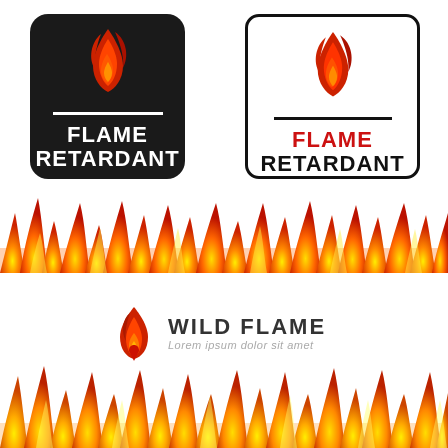[Figure (logo): Black square badge with flame icon and white text FLAME RETARDANT separated by a white divider line]
[Figure (logo): White square badge with black border, red flame icon and text FLAME in red, RETARDANT in black, separated by a black divider line]
[Figure (illustration): Horizontal fire flame border strip with orange and red flames on white background]
[Figure (logo): Wild Flame logo with orange flame icon and text WILD FLAME in dark letters with tagline Lorem ipsum dolor sit amet]
[Figure (illustration): Horizontal fire flame border strip with orange, red and yellow flames on white background]